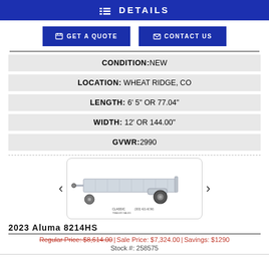DETAILS
GET A QUOTE | CONTACT US
| Field | Value |
| --- | --- |
| CONDITION | NEW |
| LOCATION | WHEAT RIDGE, CO |
| LENGTH | 6' 5" OR 77.04" |
| WIDTH | 12' OR 144.00" |
| GVWR | 2990 |
[Figure (photo): Photo of 2023 Aluma 8214HS trailer, aluminum flatbed tilt trailer with single axle and spare tire mount]
2023 Aluma 8214HS
Regular Price: $8,614.00 | Sale Price: $7,324.00 | Savings: $1290
Stock #: 258575